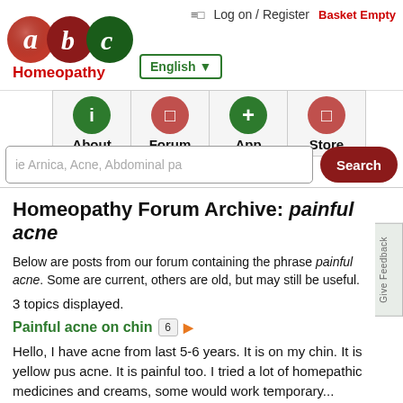[Figure (logo): abc Homeopathy logo with colorful letter bubbles]
≡□  Log on / Register  Basket Empty
English ▼
[Figure (infographic): Navigation icons: About (green i), Forum (red square), App (green +), Store (red square)]
ie Arnica, Acne, Abdominal pa   Search
Homeopathy Forum Archive: painful acne
Below are posts from our forum containing the phrase painful acne. Some are current, others are old, but may still be useful.
3 topics displayed.
Painful acne on chin  6
Hello, I have acne from last 5-6 years. It is on my chin. It is yellow pus acne. It is painful too. I tried a lot of homepathic medicines and creams, some would work temporary...
Started by Wierc. Last post: 2017-12-24